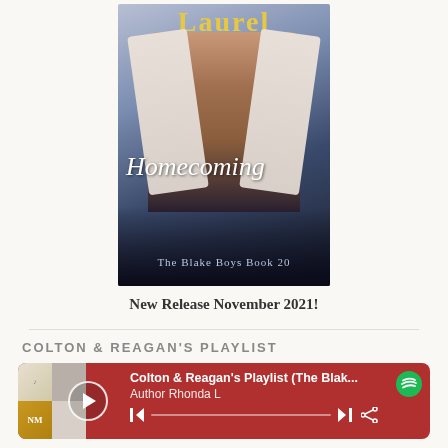[Figure (illustration): Book cover for 'Homecoming' by Laurel, The Blake Boys Book 20. Shows a shirtless man in an open white shirt against a blue-purple gradient background. Title 'Homecoming' in white cursive script, subtitle 'The Blake Boys Book 20' in light blue text.]
New Release November 2021!
COLTON & REAGAN'S PLAYLIST
[Figure (screenshot): Spotify playlist widget with dark red background. Shows album thumbnails on left, play button circle overlay. Text: 'Colton & Reagan's Playlist (The Blak...' and 'Author Rhonda L'. Bottom controls include previous/next track buttons, a progress bar, and a share icon. Spotify logo in top right.]